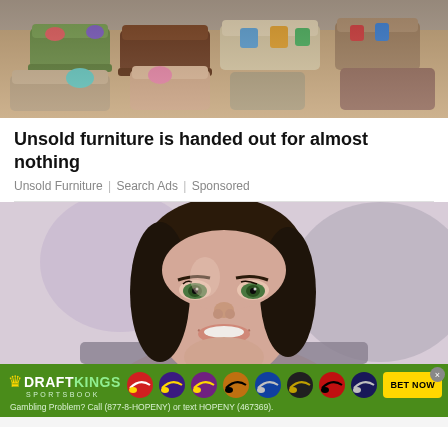[Figure (photo): Aerial/overhead view of a furniture showroom with many sofas and couches in various colors including green, brown, beige, and colorful accent pillows.]
Unsold furniture is handed out for almost nothing
Unsold Furniture | Search Ads | Sponsored
[Figure (photo): Close-up portrait of a smiling young woman with dark hair and green eyes.]
[Figure (illustration): DraftKings Sportsbook advertisement banner with green background, NFL team helmets, and BET NOW button. Disclaimer: Gambling Problem? Call (877-8-HOPENY) or text HOPENY (467369).]